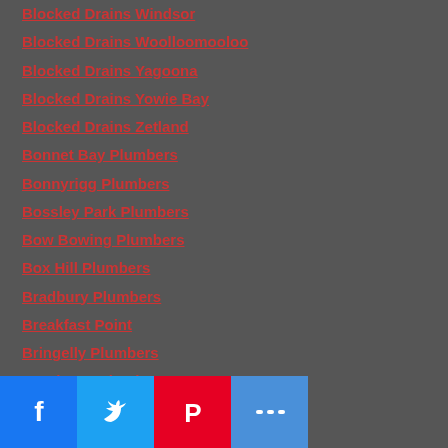Blocked Drains Windsor
Blocked Drains Woolloomooloo
Blocked Drains Yagoona
Blocked Drains Yowie Bay
Blocked Drains Zetland
Bonnet Bay Plumbers
Bonnyrigg Plumbers
Bossley Park Plumbers
Bow Bowing Plumbers
Box Hill Plumbers
Bradbury Plumbers
Breakfast Point
Bringelly Plumbers
Bundeena Plumbers
Burst Pipe Repair Affords Point
Burst Pipe Repair Ashbury
Burst Pipe Repair Ashfield
Burst Pipe Repair Athol Bay
Burst Pipe Repair Balgowlah
Burst Pipe Repair Baulkham Hills